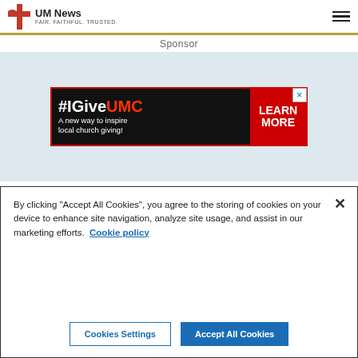UM News — FAIR. FAITHFUL. TRUSTED.
Sponsor
[Figure (screenshot): Advertisement banner: #IGiveUMC — A new way to inspire local church giving! LEARN MORE]
By clicking "Accept All Cookies", you agree to the storing of cookies on your device to enhance site navigation, analyze site usage, and assist in our marketing efforts.  Cookie policy
Cookies Settings    Accept All Cookies